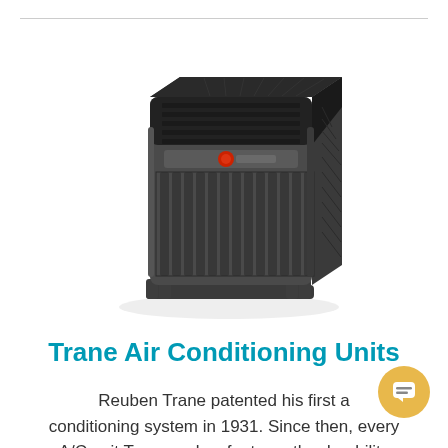[Figure (photo): Photograph of a Trane outdoor air conditioning unit — a large dark gray/charcoal square condenser unit with vertical louvered grilles on the sides, a black top grille, and a red Trane logo badge on the front panel.]
Trane Air Conditioning Units
Reuben Trane patented his first air conditioning system in 1931. Since then, every A/C unit Trane makes features the durability